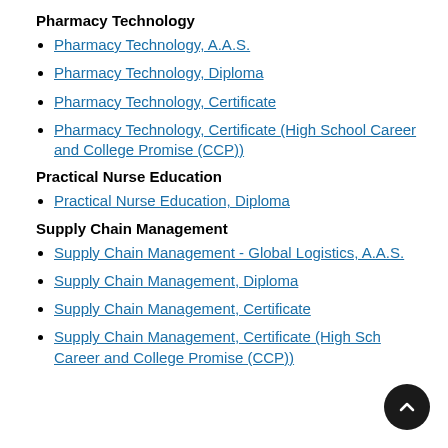Pharmacy Technology
Pharmacy Technology, A.A.S.
Pharmacy Technology, Diploma
Pharmacy Technology, Certificate
Pharmacy Technology, Certificate (High School Career and College Promise (CCP))
Practical Nurse Education
Practical Nurse Education, Diploma
Supply Chain Management
Supply Chain Management - Global Logistics, A.A.S.
Supply Chain Management, Diploma
Supply Chain Management, Certificate
Supply Chain Management, Certificate (High School Career and College Promise (CCP))